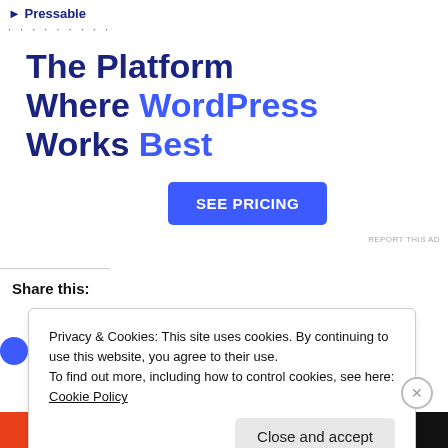[Figure (screenshot): Pressable WordPress hosting advertisement with bold headline 'The Platform Where WordPress Works Best' and a blue 'SEE PRICING' button]
Share this:
Privacy & Cookies: This site uses cookies. By continuing to use this website, you agree to their use.
To find out more, including how to control cookies, see here: Cookie Policy
Close and accept